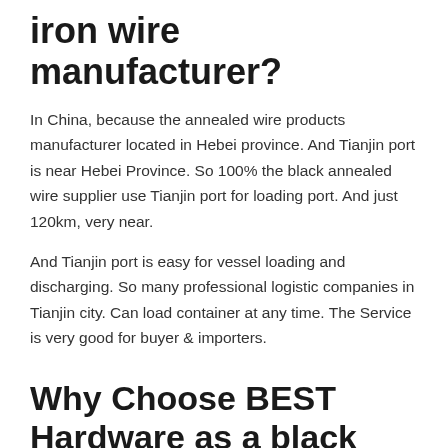Which port better for black iron wire manufacturer?
In China, because the annealed wire products manufacturer located in Hebei province. And Tianjin port is near Hebei Province. So 100% the black annealed wire supplier use Tianjin port for loading port. And just 120km, very near.
And Tianjin port is easy for vessel loading and discharging. So many professional logistic companies in Tianjin city. Can load container at any time. The Service is very good for buyer & importers.
Why Choose BEST Hardware as a black wire supplier?
BEST Hardware has over 20 years in black iron wire making. We have professional equitment, have 3 sets